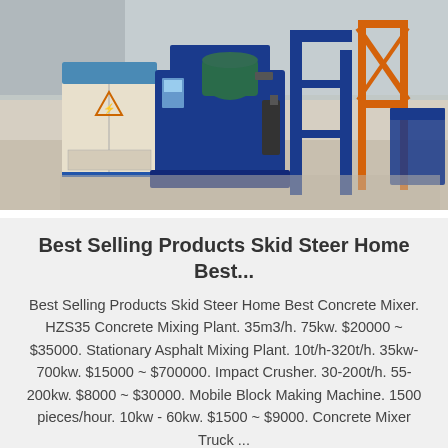[Figure (photo): Industrial concrete block making machine with blue metal frame and machinery in a factory setting. A blue control cabinet with an electrical hazard symbol is on the left, and blue heavy machinery with orange structural frames is visible in the background.]
Best Selling Products Skid Steer Home Best...
Best Selling Products Skid Steer Home Best Concrete Mixer. HZS35 Concrete Mixing Plant. 35m3/h. 75kw. $20000 ~ $35000. Stationary Asphalt Mixing Plant. 10t/h-320t/h. 35kw-700kw. $15000 ~ $700000. Impact Crusher. 30-200t/h. 55-200kw. $8000 ~ $30000. Mobile Block Making Machine. 1500 pieces/hour. 10kw - 60kw. $1500 ~ $9000. Concrete Mixer Truck ...